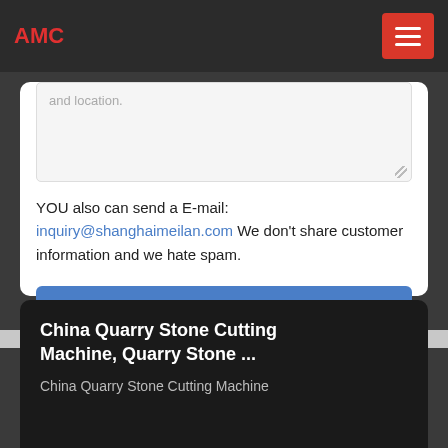AMC
and location.
YOU also can send a E-mail: inquiry@shanghaimeilan.com We don't share customer information and we hate spam.
Send Message
China Quarry Stone Cutting Machine, Quarry Stone ...
China Quarry Stone Cutting Machine